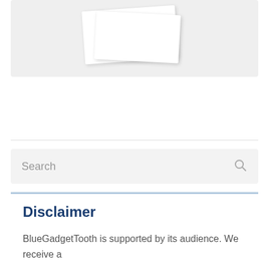[Figure (illustration): Two overlapping white card/image placeholders on a light gray background, slightly rotated]
[Figure (screenshot): Search input box with placeholder text 'Search' and a magnifying glass icon on the right]
Disclaimer
BlueGadgetTooth is supported by its audience. We receive a